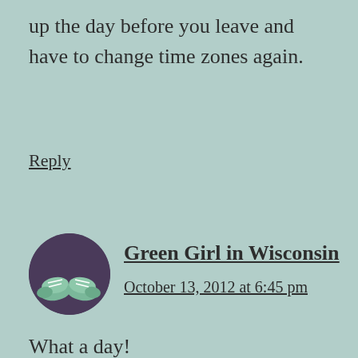up the day before you leave and have to change time zones again.
Reply
[Figure (photo): Circular avatar image showing green sneaker shoes from above, with white laces, against a dark purple background]
Green Girl in Wisconsin
October 13, 2012 at 6:45 pm
What a day!
I love these pictures of the rituals and the museum goodies–I'll likely never get to Turkey, so this brings it to me in a very intimate way.
Yurt. Just a great word.